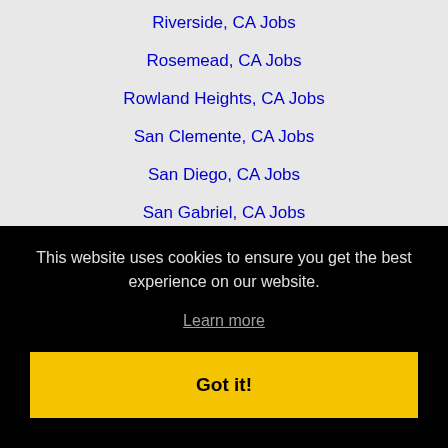Riverside, CA Jobs
Rosemead, CA Jobs
Rowland Heights, CA Jobs
San Clemente, CA Jobs
San Diego, CA Jobs
San Gabriel, CA Jobs
San Marcos, CA Jobs
Santa Ana, CA Jobs
Santa Clarita, CA Jobs
Santa Monica, CA Jobs
This website uses cookies to ensure you get the best experience on our website.
Learn more
Got it!